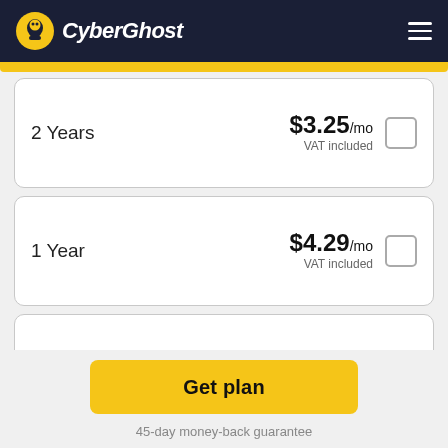CyberGhost
2 Years — $3.25/mo VAT included
1 Year — $4.29/mo VAT included
1 Month — $12.99/mo VAT included
Get plan
45-day money-back guarantee